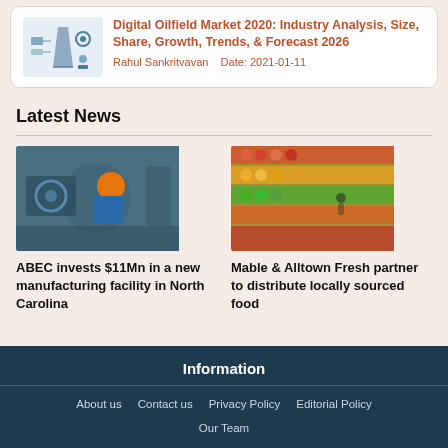[Figure (illustration): Thumbnail image for Digital Oilfield Market article showing industrial/technology icons]
Digital Oilfield Market 2020: Industry Analysis, Size, Share, Growth, Trends, & Forecast 2026
Rahul Sankritvavan    Date: 2021-01-11
Latest News
[Figure (photo): Worker in orange hard hat and blue shirt working on industrial machinery]
ABEC invests $11Mn in a new manufacturing facility in North Carolina
[Figure (photo): Aerial view of colorful produce/food items arranged in rows at a market or grocery store]
Mable & Alltown Fresh partner to distribute locally sourced food
Information
About us   Contact us   Privacy Policy   Editorial Policy
Our Team